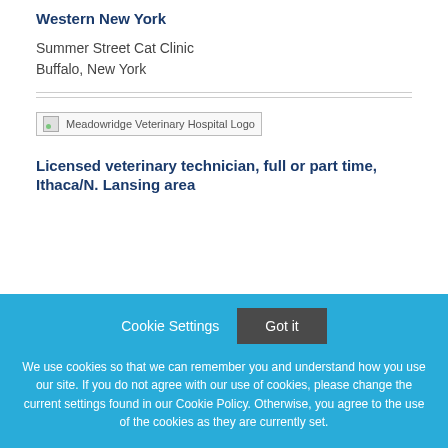Western New York
Summer Street Cat Clinic
Buffalo, New York
[Figure (logo): Meadowridge Veterinary Hospital Logo placeholder image]
Licensed veterinary technician, full or part time, Ithaca/N. Lansing area
We use cookies so that we can remember you and understand how you use our site. If you do not agree with our use of cookies, please change the current settings found in our Cookie Policy. Otherwise, you agree to the use of the cookies as they are currently set.